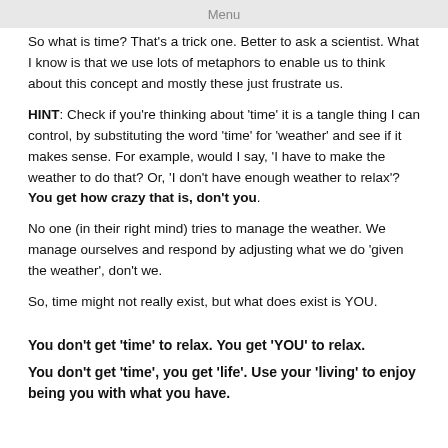Menu
So what is time? That's a trick one. Better to ask a scientist. What I know is that we use lots of metaphors to enable us to think about this concept and mostly these just frustrate us.
HINT:  Check if you're thinking about 'time' it is a tangle thing I can control, by substituting the word 'time' for 'weather' and see if it makes sense.  For example, would I say, 'I have to make the weather to do that?  Or, 'I don't have enough weather to relax'?  You get how crazy that is, don't you.
No one (in their right mind) tries to manage the weather. We manage ourselves and respond by adjusting what we do 'given the weather', don't we.
So, time might not really exist, but what does exist is YOU.
You don't get 'time' to relax. You get 'YOU' to relax.
You don't get 'time', you get 'life'.  Use your 'living' to enjoy being you with what you have.